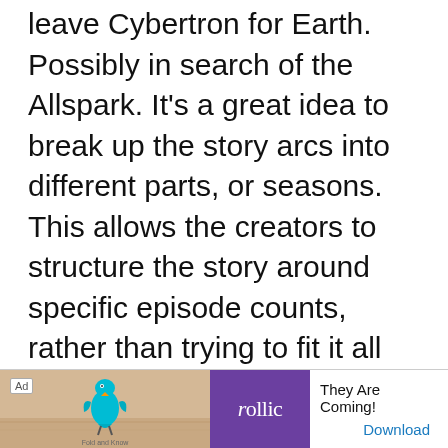leave Cybertron for Earth. Possibly in search of the Allspark. It's a great idea to break up the story arcs into different parts, or seasons. This allows the creators to structure the story around specific episode counts, rather than trying to fit it all into the first season, with no guarantee of a second.
[Figure (other): Advertisement banner at the bottom of the page. Contains 'Ad' label, an image area with a bird figurine illustration, a purple Rollic games logo box, text 'They Are Coming!' and a 'Download' link in blue.]